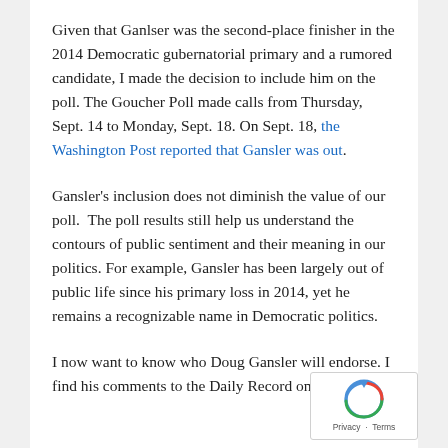Given that Ganlser was the second-place finisher in the 2014 Democratic gubernatorial primary and a rumored candidate, I made the decision to include him on the poll. The Goucher Poll made calls from Thursday, Sept. 14 to Monday, Sept. 18. On Sept. 18, the Washington Post reported that Gansler was out.
Gansler's inclusion does not diminish the value of our poll.  The poll results still help us understand the contours of public sentiment and their meaning in our politics. For example, Gansler has been largely out of public life since his primary loss in 2014, yet he remains a recognizable name in Democratic politics.
I now want to know who Doug Gansler will endorse. I find his comments to the Daily Record on the 2018